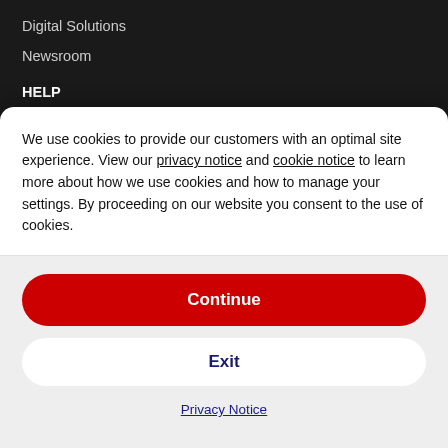Digital Solutions
Newsroom
HELP
Help and Support
Order Status
Shipping Rates/Options
We use cookies to provide our customers with an optimal site experience. View our privacy notice and cookie notice to learn more about how we use cookies and how to manage your settings. By proceeding on our website you consent to the use of cookies.
Continue
Exit
Privacy Notice